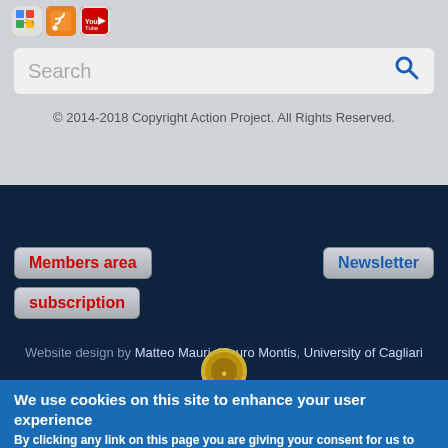[Figure (screenshot): Website header area with social media icons (Google+, RSS, YouTube), a search bar, and copyright notice on grey background]
© 2014-2018 Copyright Action Project. All Rights Reserved.
[Figure (screenshot): Dark navy blue website footer with Members area subscription button (red text) and Newsletter button (blue text)]
Website design by Matteo Mauri, Mauro Montis, University of Cagliari
We use cookies on this site to enhance your user experience
By clicking any link on this page you are giving your consent for us to set cookies.